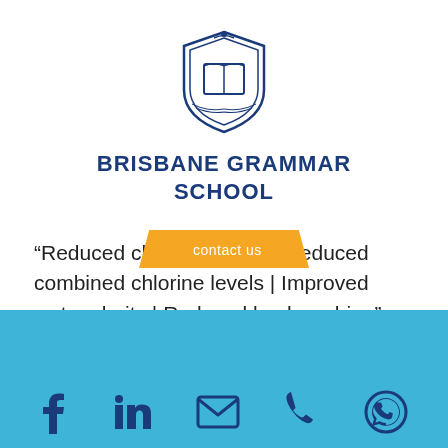[Figure (logo): Brisbane Grammar School crest/shield logo in blue and white]
BRISBANE GRAMMAR SCHOOL
“Reduced chlorine usage | Reduced combined chlorine levels | Improved water clarity | Reduced backwashing”.
contact us | social media icons: Facebook, LinkedIn, Email, Phone, WhatsApp